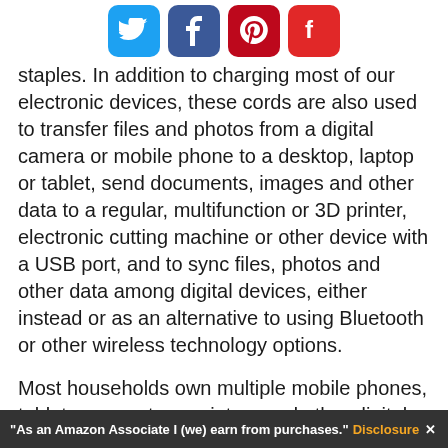[Figure (other): Social media sharing icons: Twitter (blue), Facebook (dark blue), Pinterest (red), Flipboard (red)]
staples. In addition to charging most of our electronic devices, these cords are also used to transfer files and photos from a digital camera or mobile phone to a desktop, laptop or tablet, send documents, images and other data to a regular, multifunction or 3D printer, electronic cutting machine or other device with a USB port, and to sync files, photos and other data among digital devices, either instead or as an alternative to using Bluetooth or other wireless technology options.
Most households own multiple mobile phones, tablets, computers, printers and other digital devices that require different types of USB charging cables and cords for data transfer. For example, I use both USB-A to Apple Lightning cables and USB-C to Apple Lightening cables to charge my iPhone or transfer data from my iPhone to my Windows laptop and a USB-A to USB-C cable to charge my Fire HD 10 tablet, while my husband’s old Samsung Galaxy S5 Android phone uses a Micro USB Type B to USB-A charging cable.
“As an Amazon Associate I (we) earn from purchases.” Disclosure ✕